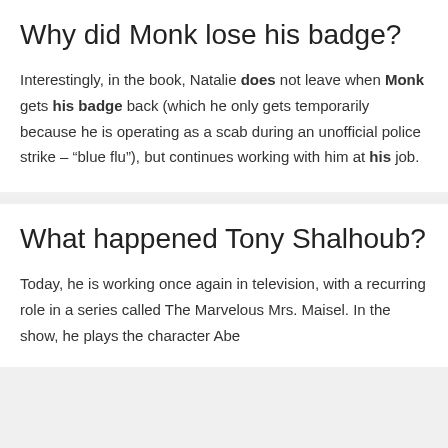Why did Monk lose his badge?
Interestingly, in the book, Natalie does not leave when Monk gets his badge back (which he only gets temporarily because he is operating as a scab during an unofficial police strike – “blue flu”), but continues working with him at his job.
What happened Tony Shalhoub?
Today, he is working once again in television, with a recurring role in a series called The Marvelous Mrs. Maisel. In the show, he plays the character Abe